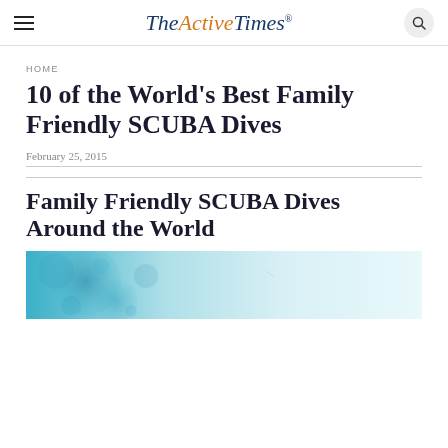TheActiveTimes
HOME
10 of the World's Best Family Friendly SCUBA Dives
February 25, 2015
Family Friendly SCUBA Dives Around the World
[Figure (photo): Underwater scene with light blue water and bubbles]